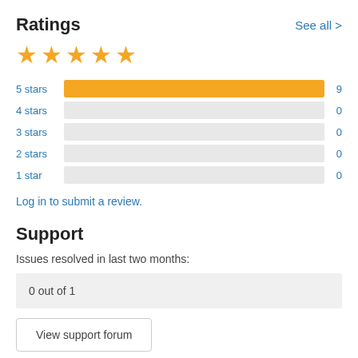Ratings
See all >
[Figure (other): Five gold star rating icons]
[Figure (bar-chart): Star ratings breakdown]
Log in to submit a review.
Support
Issues resolved in last two months:
0 out of 1
View support forum